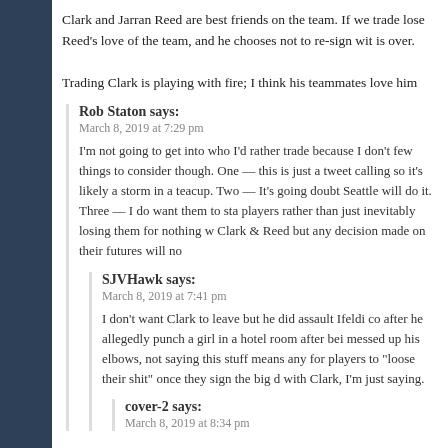Clark and Jarran Reed are best friends on the team. If we trade lose Reed's love of the team, and he chooses not to re-sign wit is over.
Trading Clark is playing with fire; I think his teammates love him
Rob Staton says:
March 8, 2019 at 7:29 pm
I'm not going to get into who I'd rather trade because I don't few things to consider though. One — this is just a tweet calling so it's likely a storm in a teacup. Two — It's going doubt Seattle will do it. Three — I do want them to sta players rather than just inevitably losing them for nothing w Clark & Reed but any decision made on their futures will no
SJVHawk says:
March 8, 2019 at 7:41 pm
I don't want Clark to leave but he did assault Ifeldi c after he allegedly punch a girl in a hotel room after bei messed up his elbows, not saying this stuff means any for players to "loose their shit" once they sign the big d with Clark, I'm just saying.
cover-2 says:
March 8, 2019 at 8:34 pm